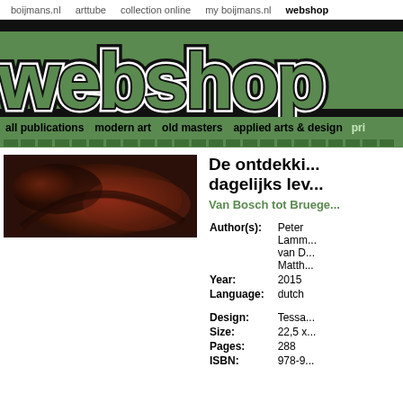boijmans.nl   arttube   collection online   my boijmans.nl   webshop
[Figure (logo): Webshop banner with large decorative Art Nouveau style text 'webshop' in green and black on a green background]
all publications   modern art   old masters   applied arts & design   pri...
[Figure (photo): Close-up detail of a painting showing dark reddish-brown circular forms, likely from a Bosch or Bruegel painting]
De ontdekki... dagelijks lev...
Van Bosch tot Bruege...
| Field | Value |
| --- | --- |
| Author(s): | Peter
Lamm...
van D...
Matth... |
| Year: | 2015 |
| Language: | dutch |
| Design: | Tessa... |
| Size: | 22,5 x... |
| Pages: | 288 |
| ISBN: | 978-9... |